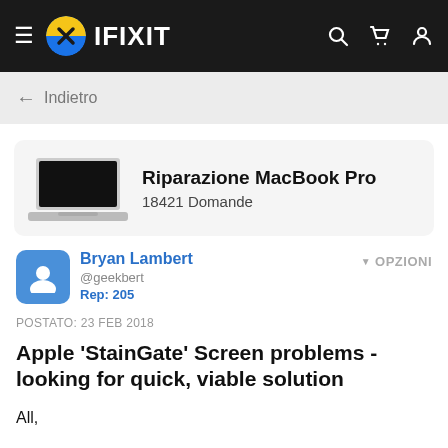IFIXIT
← Indietro
[Figure (screenshot): MacBook Pro laptop image thumbnail]
Riparazione MacBook Pro
18421 Domande
Bryan Lambert @geekbert Rep: 205
OPZIONI
POSTATO: 23 FEB 2018
Apple 'StainGate' Screen problems - looking for quick, viable solution
All,